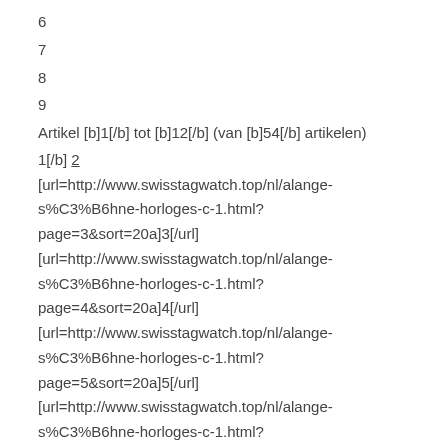6
7
8
9
Artikel [b]1[/b] tot [b]12[/b] (van [b]54[/b] artikelen)
1[/b] 2
[url=http://www.swisstagwatch.top/nl/alange-s%C3%B6hne-horloges-c-1.html?page=3&sort=20a]3[/url]
[url=http://www.swisstagwatch.top/nl/alange-s%C3%B6hne-horloges-c-1.html?page=4&sort=20a]4[/url]
[url=http://www.swisstagwatch.top/nl/alange-s%C3%B6hne-horloges-c-1.html?page=5&sort=20a]5[/url]
[url=http://www.swisstagwatch.top/nl/alange-s%C3%B6hne-horloges-c-1.html?page=2&sort=20a][Volgende >>][/url]
[url=http://www.swisstagwatch.top/nl/replica-cool-alange-sohne-lange-automatische-rose-gouden-kast-met-witte-wijzerplaat-aaa-horloges-j4i3-p-